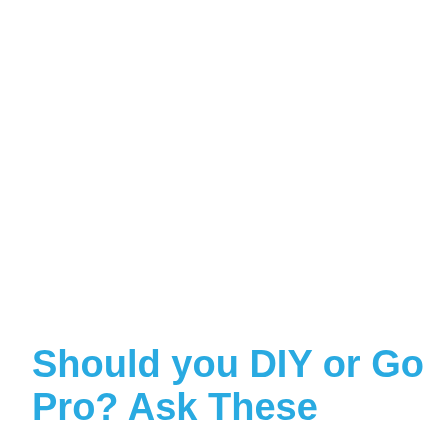Should you DIY or Go Pro? Ask These